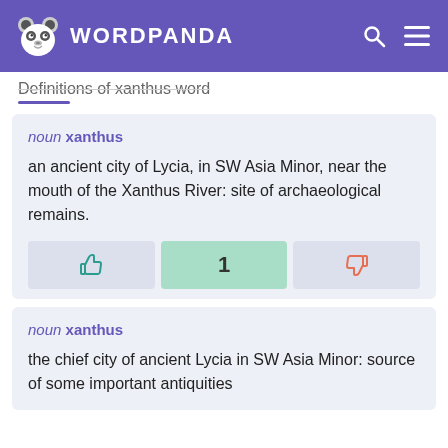WORDPANDA
Definitions of xanthus word
noun xanthus
an ancient city of Lycia, in SW Asia Minor, near the mouth of the Xanthus River: site of archaeological remains.
noun xanthus
the chief city of ancient Lycia in SW Asia Minor: source of some important antiquities